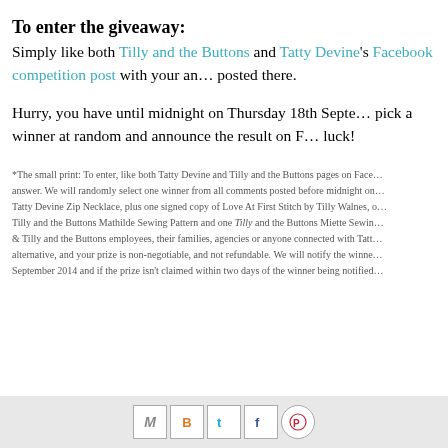To enter the giveaway:
Simply like both Tilly and the Buttons and Tatty Devine's Facebook competition post with your answer posted there.
Hurry, you have until midnight on Thursday 18th September to pick a winner at random and announce the result on Facebook. Good luck!
*The small print: To enter, like both Tatty Devine and Tilly and the Buttons pages on Facebook and answer. We will randomly select one winner from all comments posted before midnight on Tatty Devine Zip Necklace, plus one signed copy of Love At First Stitch by Tilly Walnes, one Tilly and the Buttons Mathilde Sewing Pattern and one Tilly and the Buttons Miette Sewing & Tilly and the Buttons employees, their families, agencies or anyone connected with Tatty alternative, and your prize is non-negotiable, and not refundable. We will notify the winner September 2014 and if the prize isn't claimed within two days of the winner being notified
[Figure (other): Social sharing icons: Gmail (M), Blogger (B), Twitter (t), Facebook (f), Pinterest (circle with P)]